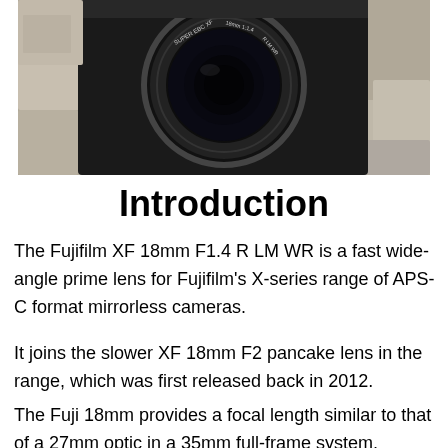[Figure (photo): Close-up photograph of a Fujifilm XF 18mm F1.4 R LM WR lens mounted on a camera, with lens lettering visible, set against a stone/concrete textured background.]
Introduction
The Fujifilm XF 18mm F1.4 R LM WR is a fast wide-angle prime lens for Fujifilm's X-series range of APS-C format mirrorless cameras.
It joins the slower XF 18mm F2 pancake lens in the range, which was first released back in 2012.
The Fuji 18mm provides a focal length similar to that of a 27mm optic in a 35mm full-frame system, making it a classic landscape and street